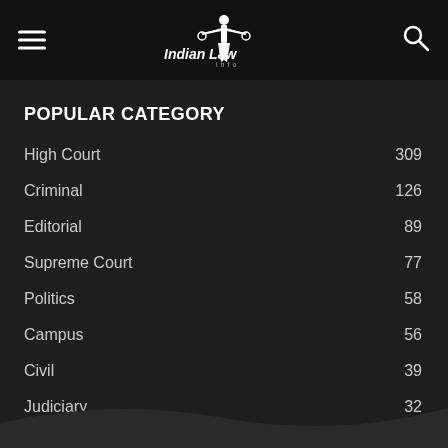Indian Law Info
POPULAR CATEGORY
High Court 309
Criminal 126
Editorial 89
Supreme Court 77
Politics 58
Campus 56
Civil 39
Judiciary 32
International 29